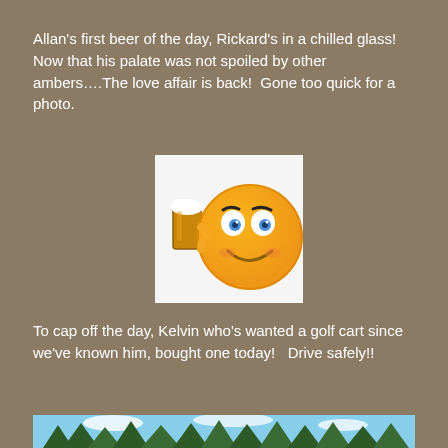Allan's first beer of the day, Rickard's in a chilled glass!    Now that his palate was not spoiled by other ambers….The love affair is back!  Gone too quick for a photo.
[Figure (illustration): Yellow smiley face emoji holding a beer mug]
To cap off the day, Kelvin who's wanted a golf cart since we've known him, bought one today!   Drive safely!!
[Figure (photo): Photo of pine trees against a blue sky with clouds]